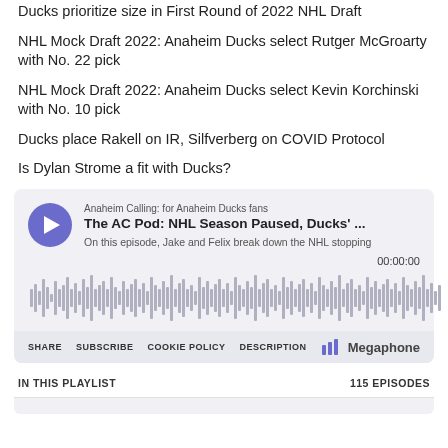Ducks prioritize size in First Round of 2022 NHL Draft
NHL Mock Draft 2022: Anaheim Ducks select Rutger McGroarty with No. 22 pick
NHL Mock Draft 2022: Anaheim Ducks select Kevin Korchinski with No. 10 pick
Ducks place Rakell on IR, Silfverberg on COVID Protocol
Is Dylan Strome a fit with Ducks?
[Figure (screenshot): Embedded podcast player for 'Anaheim Calling: for Anaheim Ducks fans' - episode 'The AC Pod: NHL Season Paused, Ducks' ...' with waveform audio visualizer, showing 00:00:00 time, with SHARE, SUBSCRIBE, COOKIE POLICY, DESCRIPTION buttons and Megaphone branding. Below: IN THIS PLAYLIST and 115 EPISODES.]